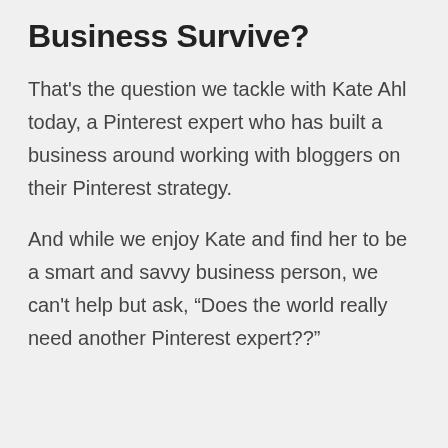Business Survive?
That's the question we tackle with Kate Ahl today, a Pinterest expert who has built a business around working with bloggers on their Pinterest strategy.
And while we enjoy Kate and find her to be a smart and savvy business person, we can't help but ask, “Does the world really need another Pinterest expert??”